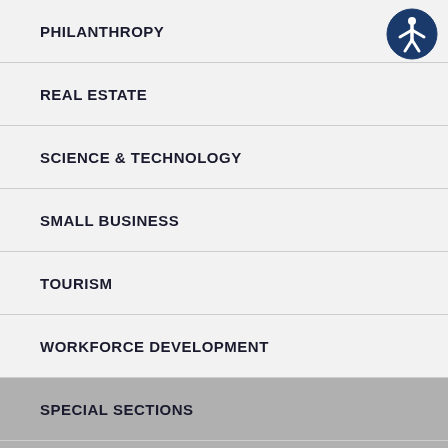PHILANTHROPY
REAL ESTATE
SCIENCE & TECHNOLOGY
SMALL BUSINESS
TOURISM
WORKFORCE DEVELOPMENT
SPECIAL SECTIONS
SPONSORED CONTENT
[Figure (illustration): Accessibility icon — a blue circle with white figure of a person with arms outstretched, positioned top-right of the first menu item]